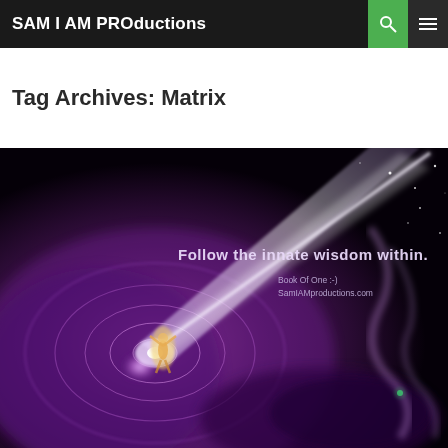SAM I AM PROductions
Tag Archives: Matrix
[Figure (illustration): A cosmic purple swirling space scene with a glowing human figure ascending through a vortex of light and energy, with text overlay: 'Follow the innate wisdom within.' and 'Book Of One :-) SamIAMproductions.com']